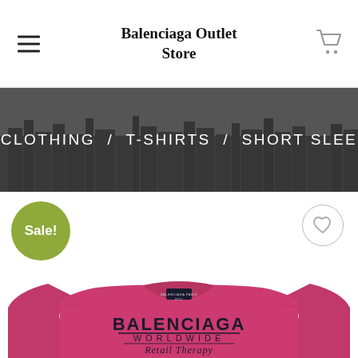Balenciaga Outlet Store
CLOTHING / T-SHIRTS / SHORT SLEE
Sale!
[Figure (photo): Pink/magenta Balenciaga Worldwide Retail Therapy short sleeve t-shirt product photo]